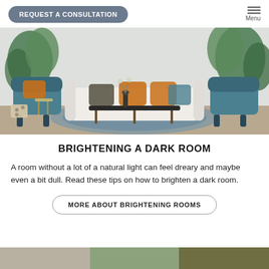REQUEST A CONSULTATION | Menu
[Figure (photo): Interior design photo showing a modern living room with a curved white sofa, teal accent chairs with orange pillows, a black coffee table, blue circular rug, and tropical plants in the background against a light gray wall.]
BRIGHTENING A DARK ROOM
A room without a lot of a natural light can feel dreary and maybe even a bit dull. Read these tips on how to brighten a dark room.
MORE ABOUT BRIGHTENING ROOMS
[Figure (photo): Partial view of another interior design photo at the bottom of the page.]